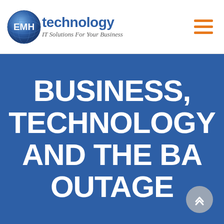EMH technology — IT Solutions For Your Business
BUSINESS, TECHNOLOGY AND THE BA OUTAGE